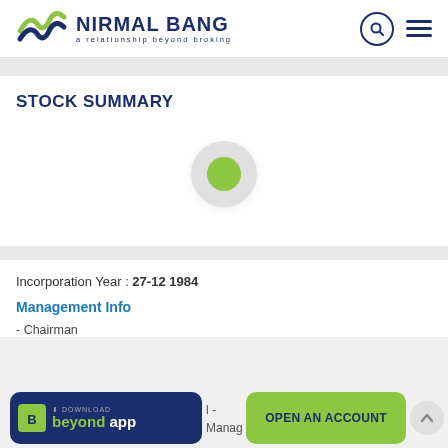[Figure (logo): Nirmal Bang logo with wave icon and tagline 'a relationship beyond broking']
STOCK SUMMARY
[Figure (other): Loading spinner with gray outer circle and green inner dot]
Incorporation Year : 27-12 1984
Management Info
- Chairman
[Figure (other): Bottom bar with 'DOWNLOAD beyond app' button and 'OPEN AN ACCOUNT' button]